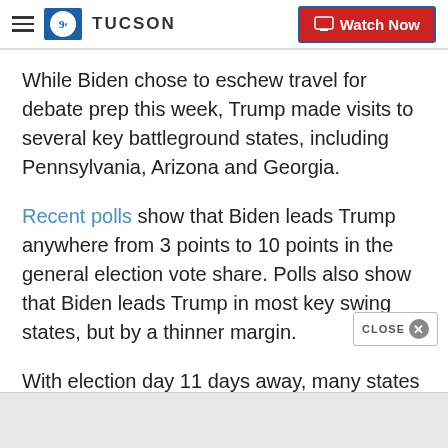TUCSON | Watch Now
While Biden chose to eschew travel for debate prep this week, Trump made visits to several key battleground states, including Pennsylvania, Arizona and Georgia.
Recent polls show that Biden leads Trump anywhere from 3 points to 10 points in the general election vote share. Polls also show that Biden leads Trump in most key swing states, but by a thinner margin.
With election day 11 days away, many states have already seen a record numbers of early votes.